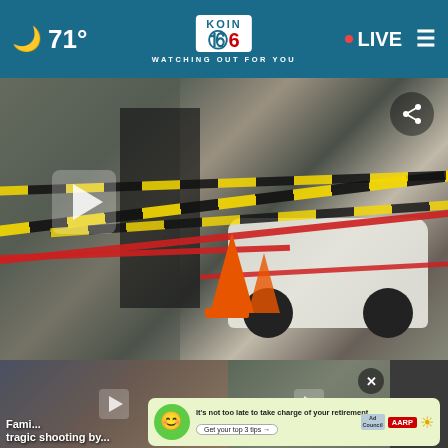🌙 71° | KOIN 6 CBS | WATCHING OUT FOR YOU | • LIVE ≡
[Figure (photo): Crime scene photo showing police officers, yellow caution tape, red tape, orange traffic cones, and a white SUV outside a building]
[Figure (photo): Thumbnail image: Family situation related to tragic shooting]
Fami... tragic shooting by...
[Figure (photo): Thumbnail image: Force trauma related news story]
force trauma in...
[Figure (photo): Thumbnail image: Lincoln County Office news story]
Linco... Office
It's not too late to take charge of your retirement. Get your top 3 tips → Ad Council AARP Real Possibilities